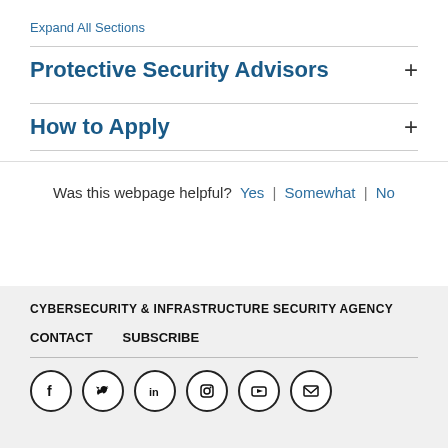Expand All Sections
Protective Security Advisors
How to Apply
Was this webpage helpful? Yes | Somewhat | No
CYBERSECURITY & INFRASTRUCTURE SECURITY AGENCY
CONTACT  SUBSCRIBE
[Figure (other): Social media icons: Facebook, Twitter, LinkedIn, Instagram, YouTube, Email]